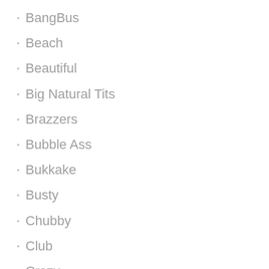BangBus
Beach
Beautiful
Big Natural Tits
Brazzers
Bubble Ass
Bukkake
Busty
Chubby
Club
Crazy